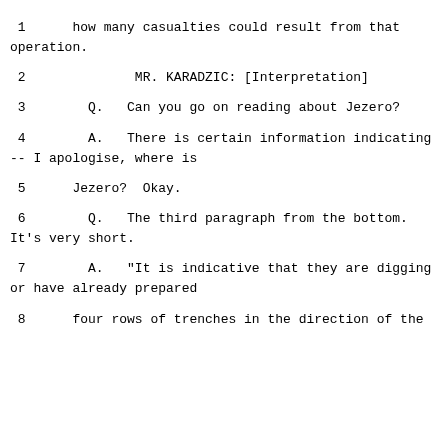1    how many casualties could result from that operation.
2              MR. KARADZIC: [Interpretation]
3        Q.   Can you go on reading about Jezero?
4        A.   There is certain information indicating -- I apologise, where is
5      Jezero?  Okay.
6        Q.   The third paragraph from the bottom. It's very short.
7        A.   "It is indicative that they are digging or have already prepared
8      four rows of trenches in the direction of the